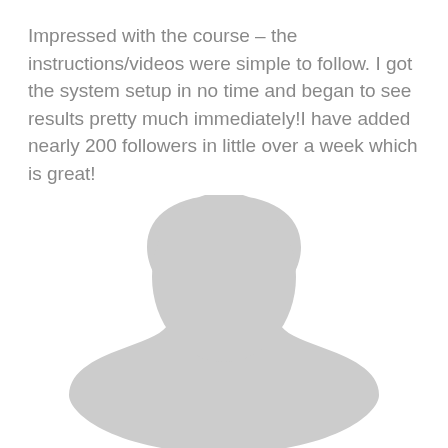Impressed with the course – the instructions/videos were simple to follow. I got the system setup in no time and began to see results pretty much immediately!I have added nearly 200 followers in little over a week which is great!
[Figure (illustration): Generic grey silhouette placeholder avatar showing a faceless person from shoulders up, with a rounded head shape]